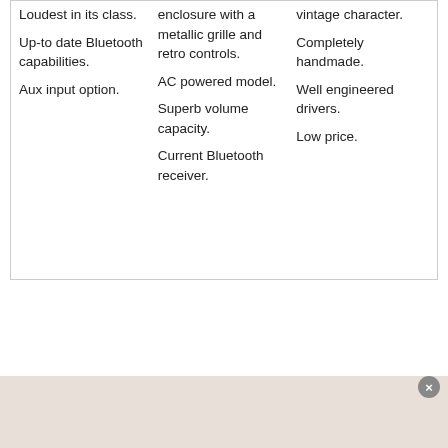Loudest in its class.
Up-to date Bluetooth capabilities.
Aux input option.
enclosure with a metallic grille and retro controls.
AC powered model.
Superb volume capacity.
Current Bluetooth receiver.
vintage character.
Completely handmade.
Well engineered drivers.
Low price.
[Figure (photo): Bottom portion of page showing a light-colored product image partially visible, with a close/dismiss button (×) in the bottom-right area.]